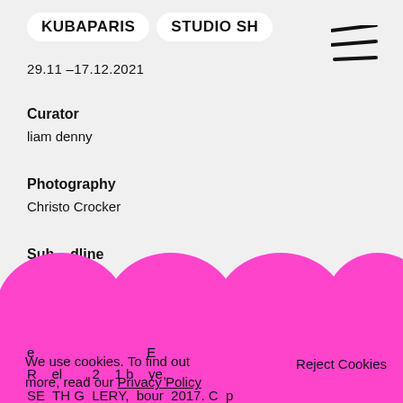KUBAPARIS  STUDIO SH
29.11 –17.12.2021
Curator
liam denny
Photography
Christo Crocker
Sub  dline
L  nr  Me  e b  rti
s
[Figure (other): Pink magenta elliptical blob shapes overlaying content in two rows]
We use cookies. To find out more, read our Privacy Policy
Reject Cookies

Allow Cookies
e                              E
R  el  , 2  1 b  ye,
SE  TH G  LERY,  bour  2017. C  p
exhibitions include: Leave the key under the